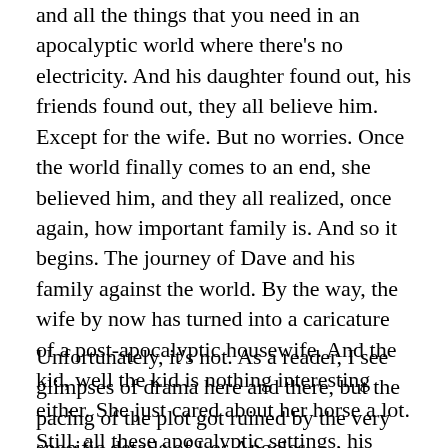and all the things that you need in an apocalyptic world where there’s no electricity. And his daughter found out, his friends found out, they all believe him.
Except for the wife. But no worries. Once the world finally comes to an end, she believed him, and they all realized, once again, how important family is. And so it begins. The journey of Dave and his family against the world. By the way, the wife by now has turned into a caricature of a post-apocalyptic housewife. And the kid, well the kid is nothing interesting either. She just cared about her horse a lot. Still, all these apocalyptic settings, his background as a screenwriter that’s not supposed to know anything about survival, should make all this interesting, right?
Unfortunately, it’s not. As a reader, I see glimpses of drama here and there, but the pacing of the plot got ruined by the very specific details of Los Angeles